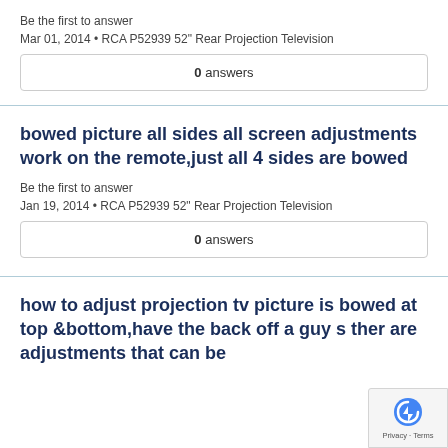Be the first to answer
Mar 01, 2014 • RCA P52939 52" Rear Projection Television
0 answers
bowed picture all sides all screen adjustments work on the remote,just all 4 sides are bowed
Be the first to answer
Jan 19, 2014 • RCA P52939 52" Rear Projection Television
0 answers
how to adjust projection tv picture is bowed at top &bottom,have the back off a guy s ther are adjustments that can be